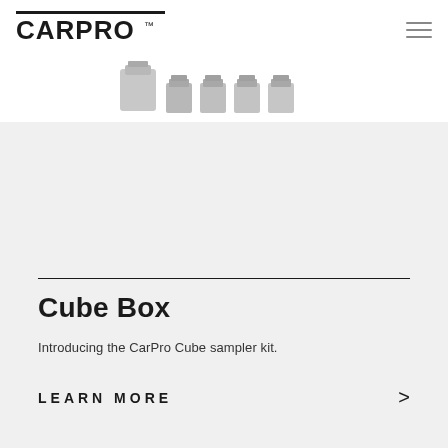CARPRO
[Figure (photo): Product image thumbnails of CarPro Cube sampler kit bottles, shown in a row with the main bottle larger on the left]
Cube Box
Introducing the CarPro Cube sampler kit.
LEARN MORE >